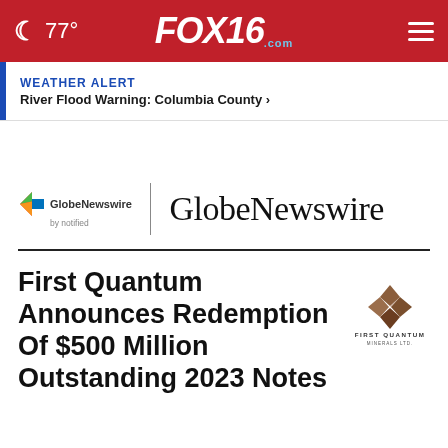FOX16.com — 77°
WEATHER ALERT
River Flood Warning: Columbia County >
[Figure (logo): GlobeNewswire by notified logo with colorful arrow icon, and large GlobeNewswire wordmark in serif font]
First Quantum Announces Redemption Of $500 Million Outstanding 2023 Notes
[Figure (logo): First Quantum Minerals Ltd. corporate logo — diamond/cross geometric icon in brown/copper color with company name text below]